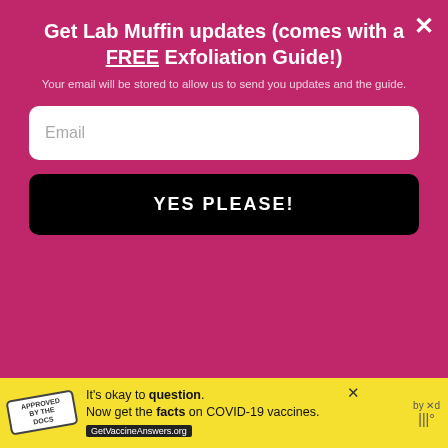Get Lab Muffin updates (comes with a FREE Exfoliation Guide!)
Your email will be stored to allow us to send you updates and the guide.
Email
YES PLEASE!
Super Store, who supplies most of Australia's indies with base. In particular, he suspects neon pigments.
Some pigments could react with solvent to produce formaldehyde or other organic compounds, which would explain the smell and the rapid penetration through the nail
[Figure (screenshot): Yellow advertisement banner: It's okay to question. Now get the facts on COVID-19 vaccines. GetVaccineAnswers.org]